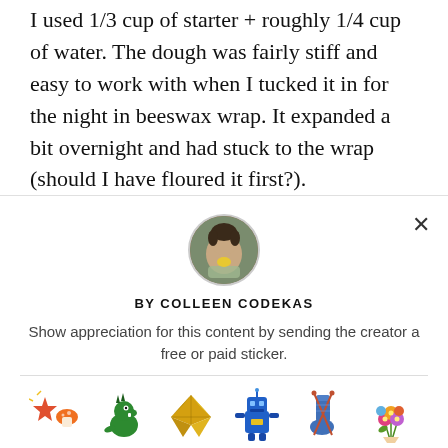I used 1/3 cup of starter + roughly 1/4 cup of water. The dough was fairly stiff and easy to work with when I tucked it in for the night in beeswax wrap. It expanded a bit overnight and had stuck to the wrap (should I have floured it first?).
[Figure (photo): Circular avatar photo of Colleen Codekas, a person outdoors holding something yellow, with a close-up expression]
BY COLLEEN CODEKAS
Show appreciation for this content by sending the creator a free or paid sticker.
[Figure (illustration): Row of sticker icons with prices: Free (star/mushroom), $1.00 (green dinosaur), $2.00 (gold origami crane), $4.00 (blue robot), $8.00 (blue sock with needles), $12.00 (flower bouquet)]